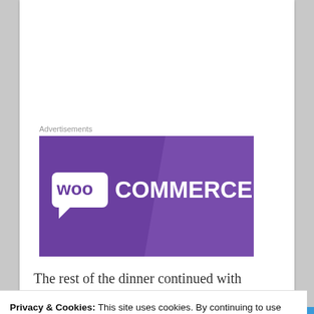Advertisements
[Figure (logo): WooCommerce advertisement banner with purple background and white WooCommerce logo text]
The rest of the dinner continued with
Privacy & Cookies: This site uses cookies. By continuing to use this website, you agree to their use.
To find out more, including how to control cookies, see here: Cookie Policy
Close and accept